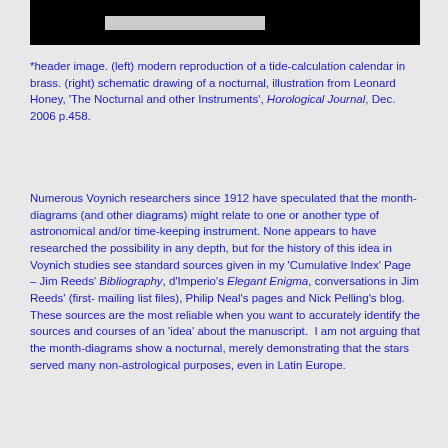[Figure (photo): Header image showing a dark background with a light-colored rectangular element, representing (left) modern reproduction of a tide-calculation calendar in brass and (right) schematic drawing of a nocturnal.]
*header image. (left) modern reproduction of a tide-calculation calendar in brass. (right) schematic drawing of a nocturnal, illustration from Leonard Honey, 'The Nocturnal and other Instruments', Horological Journal, Dec. 2006 p.458.
Numerous Voynich researchers since 1912 have speculated that the month-diagrams (and other diagrams) might relate to one or another type of astronomical and/or time-keeping instrument. None appears to have researched the possibility in any depth, but for the history of this idea in Voynich studies see standard sources given in my 'Cumulative Index' Page – Jim Reeds' Bibliography, d'Imperio's Elegant Enigma, conversations in Jim Reeds' (first- mailing list files), Philip Neal's pages and Nick Pelling's blog. These sources are the most reliable when you want to accurately identify the sources and courses of an 'idea' about the manuscript. I am not arguing that the month-diagrams show a nocturnal, merely demonstrating that the stars served many non-astrological purposes, even in Latin Europe.